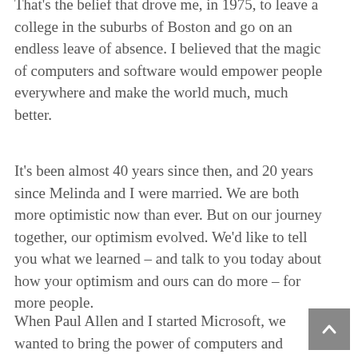That's the belief that drove me, in 1975, to leave a college in the suburbs of Boston and go on an endless leave of absence. I believed that the magic of computers and software would empower people everywhere and make the world much, much better.
It's been almost 40 years since then, and 20 years since Melinda and I were married. We are both more optimistic now than ever. But on our journey together, our optimism evolved. We'd like to tell you what we learned – and talk to you today about how your optimism and ours can do more – for more people.
When Paul Allen and I started Microsoft, we wanted to bring the power of computers and software to the people,